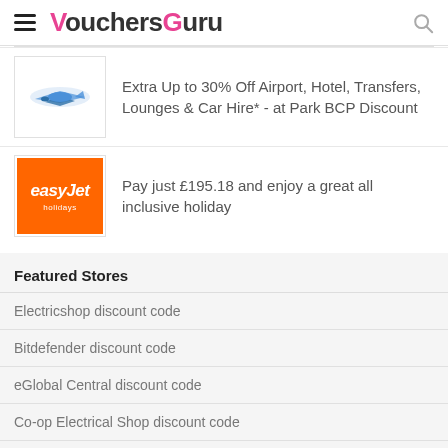VouchersGuru
[Figure (logo): Park BCP logo with blue airplane/parking graphic]
Extra Up to 30% Off Airport, Hotel, Transfers, Lounges & Car Hire* - at Park BCP Discount
[Figure (logo): easyJet holidays logo on orange background]
Pay just £195.18 and enjoy a great all inclusive holiday
Featured Stores
Electricshop discount code
Bitdefender discount code
eGlobal Central discount code
Co-op Electrical Shop discount code
Logitech discount code
laptops direct discount code